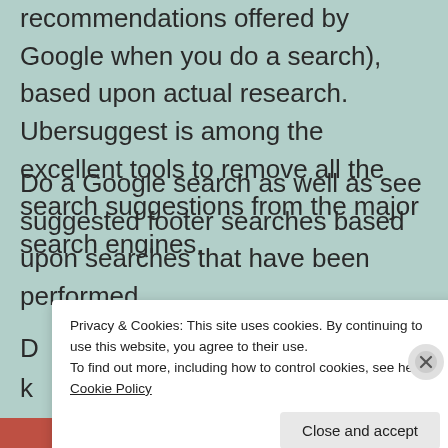recommendations offered by Google when you do a search), based upon actual research. Ubersuggest is among the excellent tools to remove all the search suggestions from the major search engines.
Do a Google search as well as see suggested footer searches based upon searches that have been performed.
D... k...
Privacy & Cookies: This site uses cookies. By continuing to use this website, you agree to their use.
To find out more, including how to control cookies, see here: Cookie Policy